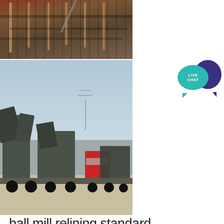[Figure (photo): Two industrial photos stacked: top shows a rust-colored industrial facility with metal structures and conveyors; bottom shows heavy construction/crushing equipment on flatbed trucks parked on a concrete surface.]
[Figure (illustration): Live Chat button with teal speech bubble and dark purple speech bubble behind it, text reads LIVE CHAT]
ball mill relining standard operating procedure
st andard operating procedure of ball mill; ball mill relining standard operating procedure; low operating cost conical ball mill; calculating torque for operating a ball mill; integral type intermittent